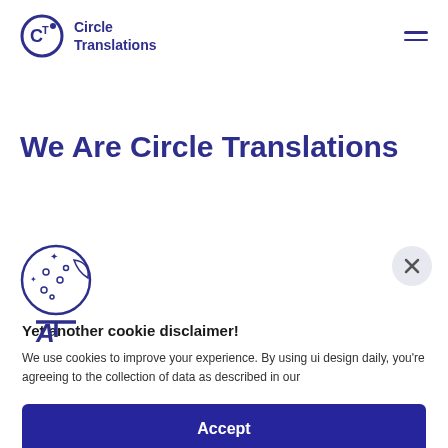[Figure (logo): Circle Translations logo with circular CT icon and text 'Circle Translations']
[Figure (illustration): Hamburger menu icon (three horizontal lines) in dark indigo]
We Are Circle Translations
[Figure (illustration): Cookie icon illustration with cookie and bite taken out, and a translation/language icon below it]
[Figure (illustration): Close (X) button circle in light gray]
Yet another cookie disclaimer!
We use cookies to improve your experience. By using ui design daily, you're agreeing to the collection of data as described in our
We Translate...
Professional ... ages
High quality translation services at very competitive prices for a wide range of clients across the globe.
Accept
Decline